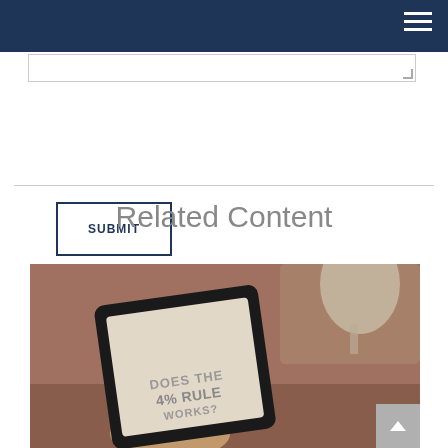SUBMIT
Related Content
[Figure (photo): Person holding a Kindle e-reader displaying text 'DOES THE 4% RULE WORKS', with a lamp in the background on a desk.]